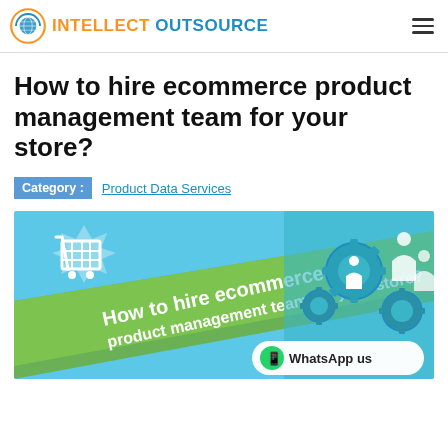INTELLECT OUTSOURCE
How to hire ecommerce product management team for your store?
Category : Product Data Services
[Figure (illustration): Banner image for blog post about hiring ecommerce product management team. Shows a shopping cart icon, green diagonal banner with text 'How to hire ecommerce product management team for your store?', and teal gears with people icons. A WhatsApp us badge appears in the bottom right.]